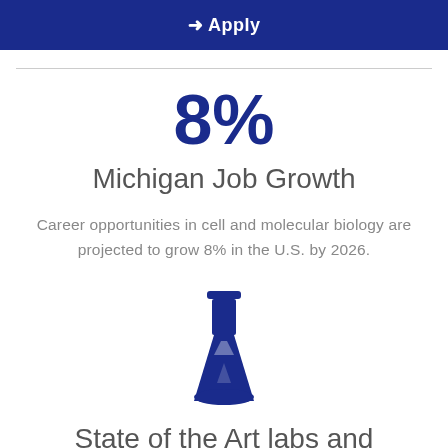→ Apply
8%
Michigan Job Growth
Career opportunities in cell and molecular biology are projected to grow 8% in the U.S. by 2026.
[Figure (illustration): Blue icon of a laboratory flask (Erlenmeyer flask)]
State of the Art labs and